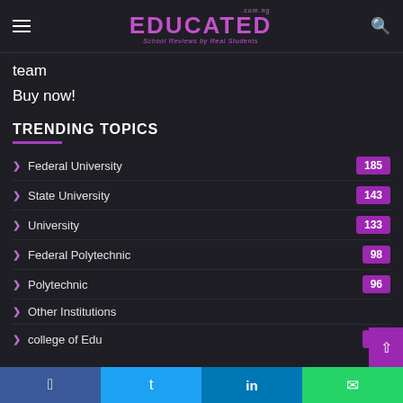EDUCATED .com.ng — School Reviews by Real Students
team
Buy now!
TRENDING TOPICS
Federal University 185
State University 143
University 133
Federal Polytechnic 98
Polytechnic 96
Other Institutions
college of Edu 85
Facebook  Twitter  LinkedIn  WhatsApp